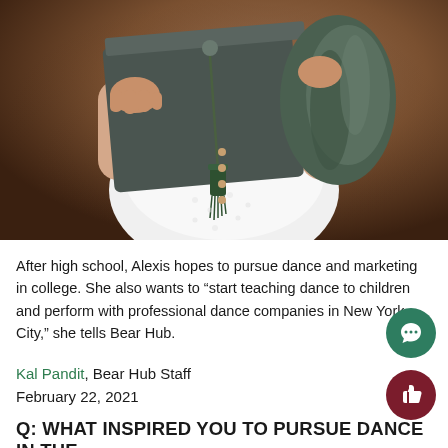[Figure (photo): A person in a white eyelet dress holding a dark green graduation cap with a green tassel, and a dark green graduation gown draped over their arm, photographed against a warm brown studio background.]
After high school, Alexis hopes to pursue dance and marketing in college. She also wants to “start teaching dance to children and perform with professional dance companies in New York City,” she tells Bear Hub.
Kal Pandit, Bear Hub Staff
February 22, 2021
Q: WHAT INSPIRED YOU TO PURSUE DANCE IN THE